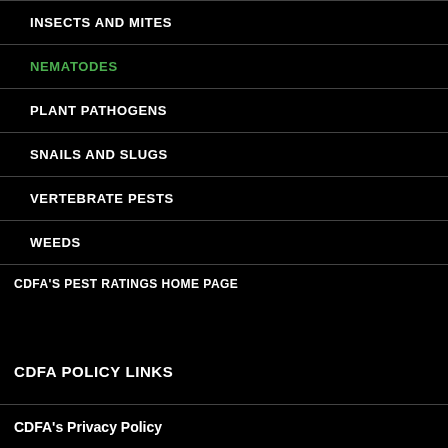INSECTS AND MITES
NEMATODES
PLANT PATHOGENS
SNAILS AND SLUGS
VERTEBRATE PESTS
WEEDS
CDFA'S PEST RATINGS HOME PAGE
CDFA POLICY LINKS
CDFA's Privacy Policy
Conditions of Use – State of California